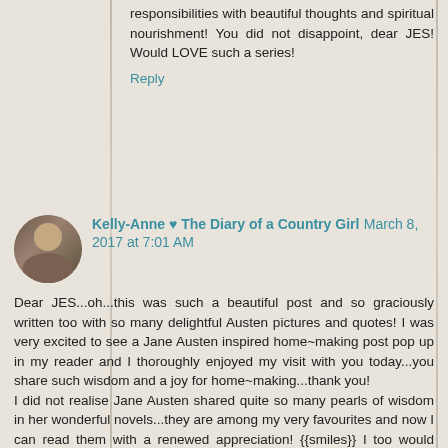responsibilities with beautiful thoughts and spiritual nourishment! You did not disappoint, dear JES! Would LOVE such a series!
Reply
Kelly-Anne ♥ The Diary of a Country Girl March 8, 2017 at 7:01 AM
Dear JES...oh...this was such a beautiful post and so graciously written too with so many delightful Austen pictures and quotes! I was very excited to see a Jane Austen inspired home~making post pop up in my reader and I thoroughly enjoyed my visit with you today...you share such wisdom and a joy for home~making...thank you!
I did not realise Jane Austen shared quite so many pearls of wisdom in her wonderful novels...they are among my very favourites and now I can read them with a renewed appreciation! {{smiles}} I too would dearly love more posts such as this one! {{smiles}}
With love and blessings on this lovely Wednesday afternoon...
In Christ,